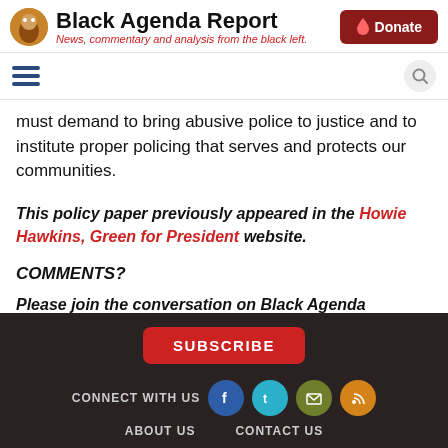Black Agenda Report — News, commentary and analysis from the black left.
must demand to bring abusive police to justice and to institute proper policing that serves and protects our communities.
This policy paper previously appeared in the Howie Hawkins, Green for President website.
COMMENTS?
Please join the conversation on Black Agenda Report's Facebook page at http://facebook.com/blackagendareport
SUBSCRIBE | CONNECT WITH US | ABOUT US | CONTACT US